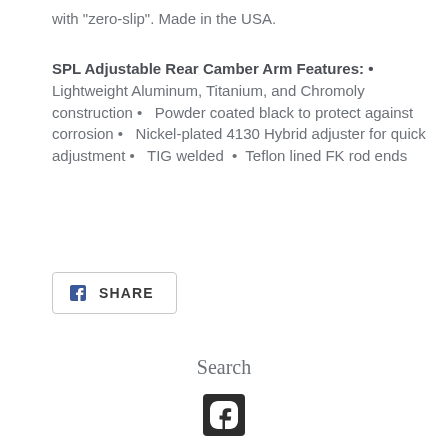with "zero-slip". Made in the USA.
SPL Adjustable Rear Camber Arm Features: • Lightweight Aluminum, Titanium, and Chromoly construction • Powder coated black to protect against corrosion • Nickel-plated 4130 Hybrid adjuster for quick adjustment • TIG welded • Teflon lined FK rod ends
[Figure (other): Facebook Share button with Facebook icon and SHARE text label inside a rounded rectangle border]
Search
[Figure (logo): Facebook logo icon in dark square]